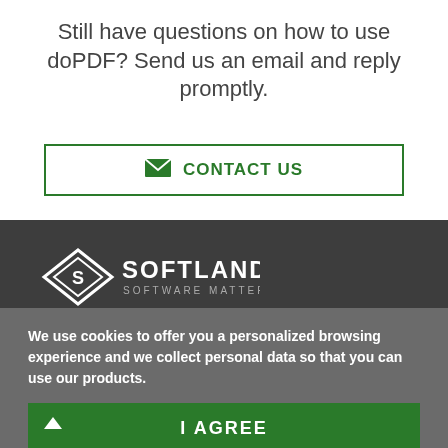Still have questions on how to use doPDF? Send us an email and reply promptly.
[Figure (other): CONTACT US button with envelope icon, green border on white background]
[Figure (logo): Softland Software Matters logo — diamond/shield shape with S, white text on dark background]
We use cookies to offer you a personalized browsing experience and we collect personal data so that you can use our products.
[Figure (other): I AGREE button — green background with white bold text and arrow icon]
[Figure (other): READ MORE button — light gray background with gray border and gray bold text]